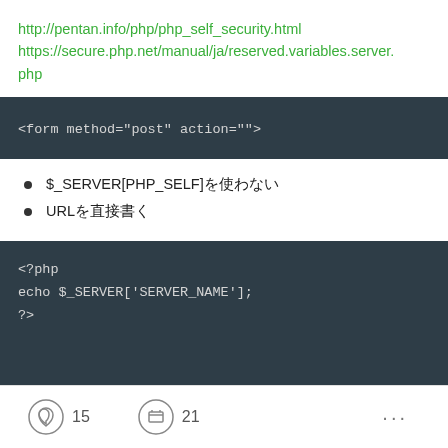http://pentan.info/php/php_self_security.html
https://secure.php.net/manual/ja/reserved.variables.server.php
<form method="post" action="">
$_SERVER[PHP_SELF]を使わない
URLを直接書く
<?php
echo $_SERVER['SERVER_NAME'];
?>
15  21  ...